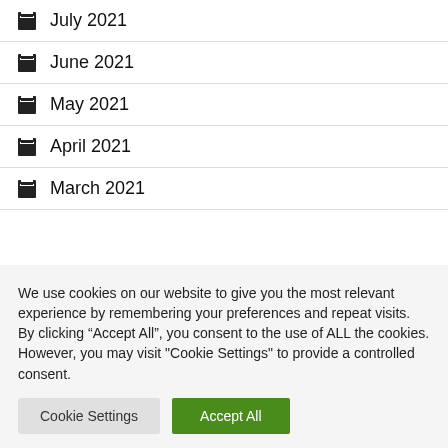July 2021
June 2021
May 2021
April 2021
March 2021
We use cookies on our website to give you the most relevant experience by remembering your preferences and repeat visits. By clicking “Accept All”, you consent to the use of ALL the cookies. However, you may visit "Cookie Settings" to provide a controlled consent.
Cookie Settings | Accept All